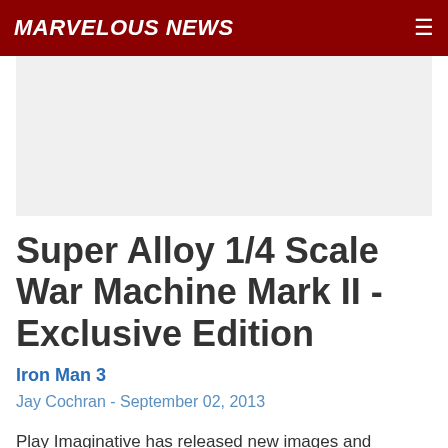MARVELOUS NEWS
[Figure (other): Advertisement banner placeholder, light gray background]
Super Alloy 1/4 Scale War Machine Mark II - Exclusive Edition
Iron Man 3
Jay Cochran - September 02, 2013
Play Imaginative has released new images and